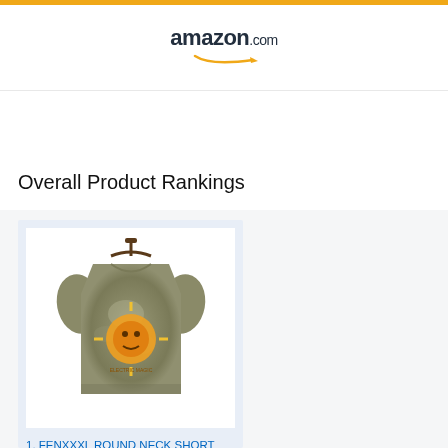[Figure (logo): Amazon.com logo with smile arrow]
Overall Product Rankings
[Figure (photo): A tie-dye graphic t-shirt on a hanger, olive/khaki color with orange sun graphic]
1. FENXXXL ROUND NECK SHORT